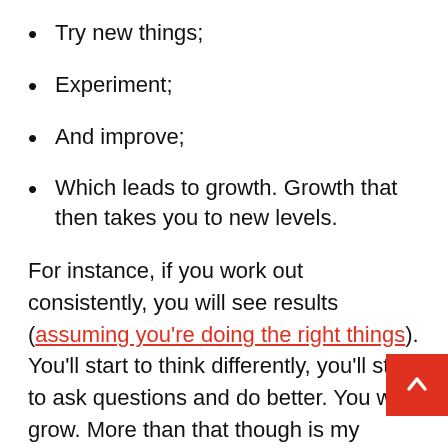Try new things;
Experiment;
And improve;
Which leads to growth. Growth that then takes you to new levels.
For instance, if you work out consistently, you will see results (assuming you're doing the right things). You'll start to think differently, you'll start to ask questions and do better. You will grow. More than that though is my fav[orite] aspect of consistency: sympathy of self. It [is about] knowing that, in a world where you work out…